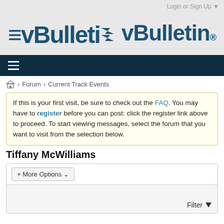Login or Sign Up ▼
[Figure (logo): vBulletin logo with registered trademark symbol]
≡ (hamburger navigation menu)
🏠 > Forum > Current Track Events
If this is your first visit, be sure to check out the FAQ. You may have to register before you can post: click the register link above to proceed. To start viewing messages, select the forum that you want to visit from the selection below.
Tiffany McWilliams
+ More Options ▼
Filter ▼